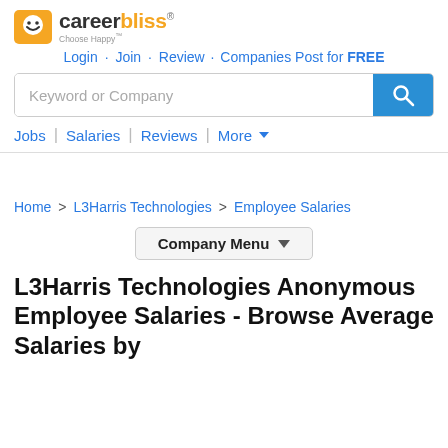[Figure (logo): CareerBliss logo with smiley face icon and 'Choose Happy' tagline]
Login · Join · Review · Companies Post for FREE
Keyword or Company (search bar)
Jobs | Salaries | Reviews | More ▾
Home > L3Harris Technologies > Employee Salaries
Company Menu ▾
L3Harris Technologies Anonymous Employee Salaries - Browse Average Salaries by